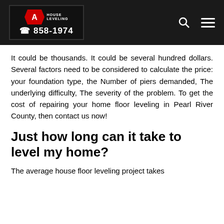ACE HOUSE LEVELING 858-1974
It could be thousands. It could be several hundred dollars. Several factors need to be considered to calculate the price: your foundation type, the Number of piers demanded, The underlying difficulty, The severity of the problem. To get the cost of repairing your home floor leveling in Pearl River County, then contact us now!
Just how long can it take to level my home?
The average house floor leveling project takes